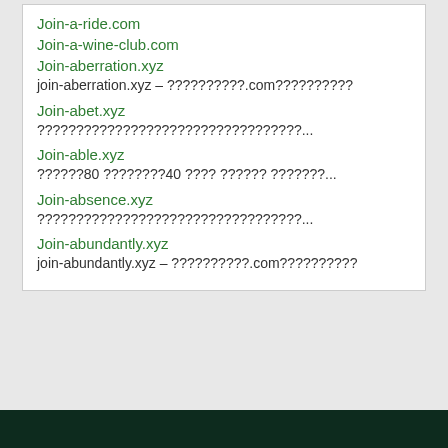Join-a-ride.com
Join-a-wine-club.com
Join-aberration.xyz
join-aberration.xyz – ??????????.com??????????
Join-abet.xyz
??????????????????????????????????...
Join-able.xyz
??????80 ????????40 ???? ?????? ???????...
Join-absence.xyz
??????????????????????????????????...
Join-abundantly.xyz
join-abundantly.xyz – ??????????.com??????????